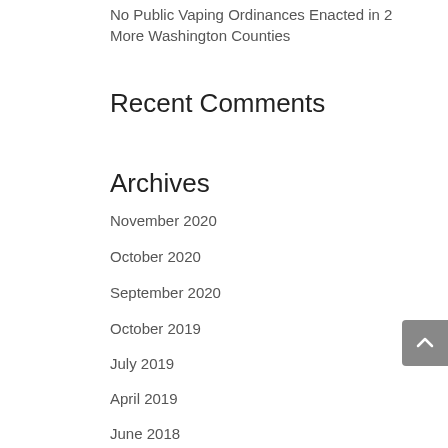No Public Vaping Ordinances Enacted in 2 More Washington Counties
Recent Comments
Archives
November 2020
October 2020
September 2020
October 2019
July 2019
April 2019
June 2018
May 2018
March 2018
January 2018